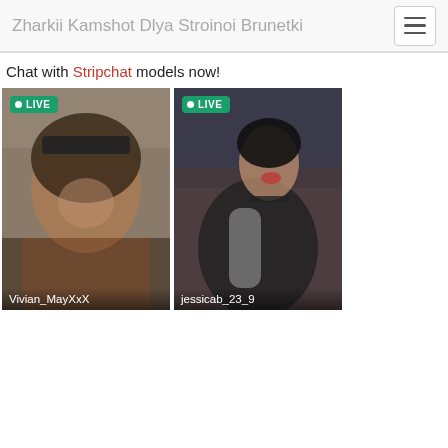Zharkii Kamshot Dlya Stroinoi Brunetki
Chat with Stripchat models now!
[Figure (photo): Two live stream thumbnail cards side by side. Left card shows 'Vivian_MayXxX' with a LIVE badge. Right card shows 'jessicab_23_9' with a LIVE badge.]